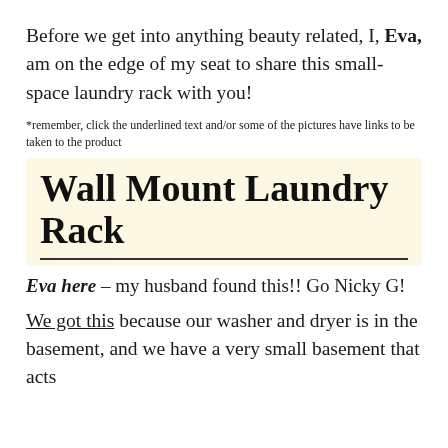Before we get into anything beauty related, I, Eva, am on the edge of my seat to share this small-space laundry rack with you!
*remember, click the underlined text and/or some of the pictures have links to be taken to the product
Wall Mount Laundry Rack
Eva here – my husband found this!! Go Nicky G!
We got this because our washer and dryer is in the basement, and we have a very small basement that acts